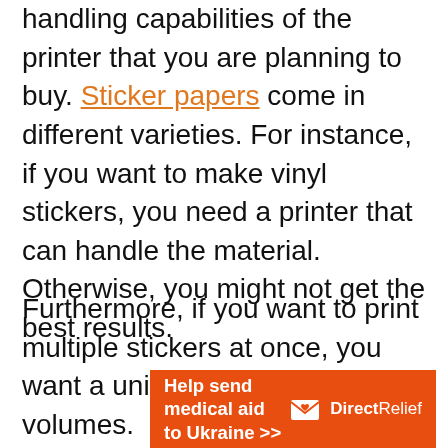handling capabilities of the printer that you are planning to buy. Sticker papers come in different varieties. For instance, if you want to make vinyl stickers, you need a printer that can handle the material. Otherwise, you might not get the best results.
Furthermore, if you want to print multiple stickers at once, you want a unit that can handle large volumes.
[Figure (other): Direct Relief advertisement banner — orange background with white bold text 'Help send medical aid to Ukraine >>' and the Direct Relief logo (envelope icon with heart) and name on the right.]